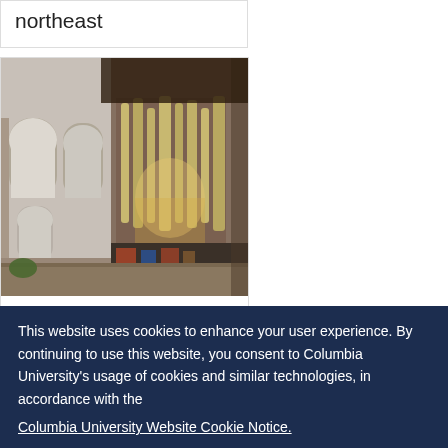northeast
[Figure (photo): Interior of Saint Albans Cathedral showing the nave looking northeast, with tall stone arches, wooden ceiling, and organ pipes visible in the distance]
Saint Albans Cathedral Interior, nave looking northeast.
This website uses cookies to enhance your user experience. By continuing to use this website, you consent to Columbia University's usage of cookies and similar technologies, in accordance with the Columbia University Website Cookie Notice.